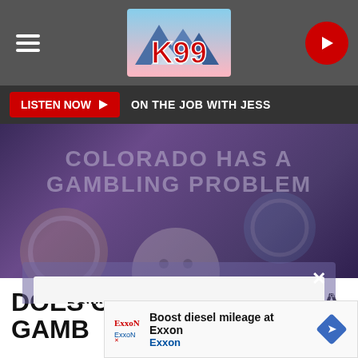[Figure (screenshot): K99 radio station website screenshot showing navigation bar with hamburger menu, K99 logo, and play button]
[Figure (screenshot): Listen Now bar with red button and ON THE JOB WITH JESS text]
[Figure (screenshot): Hero image with text COLORADO HAS A GAMBLING PROBLEM overlaid on dark background, with a modal popup to download K99 mobile app featuring GET OUR FREE MOBILE APP button]
Getty / Canva
DOES COLORADO HAVE A GAMBLING PROBLEM? TOP
[Figure (screenshot): Exxon advertisement banner: Boost diesel mileage at Exxon]